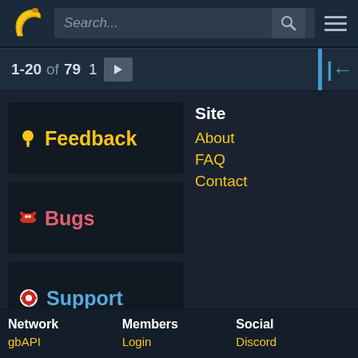Search... [search icon] [hamburger menu]
1-20 of 79  1  →  |←
[Figure (screenshot): Feedback category card with yellow lightbulb icon and bold yellow text 'Feedback' on dark background]
Site
About
FAQ
Contact
[Figure (screenshot): Bugs category card with red bug icon and bold red/pink text 'Bugs' on dark background]
[Figure (screenshot): Support category card with red/white circular icon and bold blue text 'Support' on dark background]
Network  Members  Social
gbAPI  Login  Discord
...  Register  ...